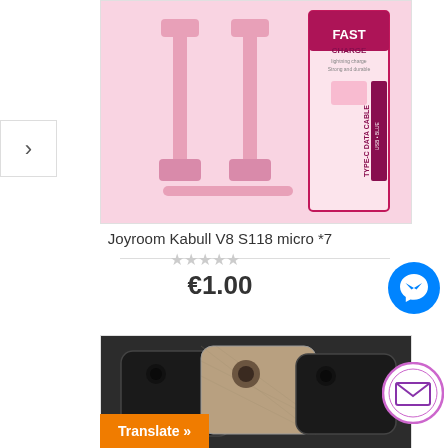[Figure (photo): Pink Joyroom Type-C USB data cable (fast charge) with packaging box]
Joyroom Kabull V8 S118 micro *7
[Figure (other): Star rating — 5 empty/grey stars]
€1.00
[Figure (photo): Black and tan fabric textured phone cases]
[Figure (other): Facebook Messenger button (blue circle with lightning bolt)]
[Figure (other): Email contact button (purple circle with envelope icon)]
Translate »